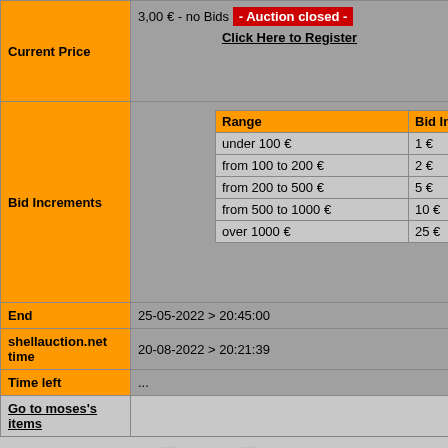| Field | Value |
| --- | --- |
| Current Price | 3,00 € - no Bids - Auction closed -
Click Here to Register |
| Bid Increments | Range / Bid Incr: under 100€=1€, from 100 to 200€=2€, from 200 to 500€=5€, from 500 to 1000€=10€, over 1000€=25€ |
| End | 25-05-2022 > 20:45:00 |
| shellauction.net time | 20-08-2022 > 20:21:39 |
| Time left | ... |
| Go to moses's items |  |
Bid history: